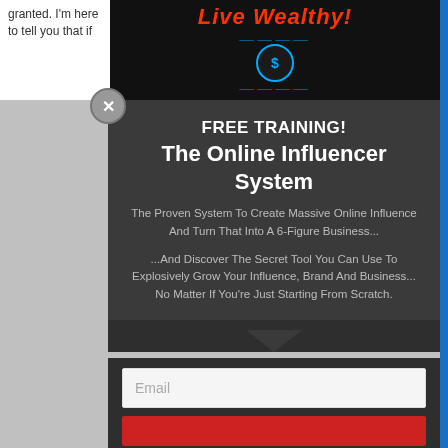granted. I'm here to tell you that if
[Figure (screenshot): Black background banner with red italic text 'Live Wealthy!' and a logo badge with wings and dollar sign in blue]
[Figure (other): Close button X in gray circle]
FREE TRAINING! The Online Influencer System
The Proven System To Create Massive Online Influence And Turn That Into A 6-Figure Business...
...And Discover The Secret Tool You Can Use To Explosively Grow Your Influence, Brand And Business... No Matter If You're Just Starting From Scratch.
Email